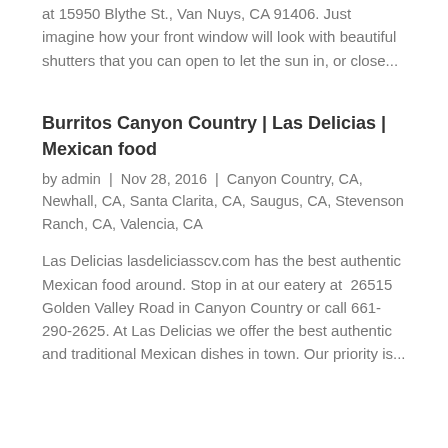at 15950 Blythe St., Van Nuys, CA 91406. Just imagine how your front window will look with beautiful shutters that you can open to let the sun in, or close...
Burritos Canyon Country | Las Delicias | Mexican food
by admin | Nov 28, 2016 | Canyon Country, CA, Newhall, CA, Santa Clarita, CA, Saugus, CA, Stevenson Ranch, CA, Valencia, CA
Las Delicias lasdeliciasscv.com has the best authentic Mexican food around. Stop in at our eatery at 26515 Golden Valley Road in Canyon Country or call 661-290-2625. At Las Delicias we offer the best authentic and traditional Mexican dishes in town. Our priority is...